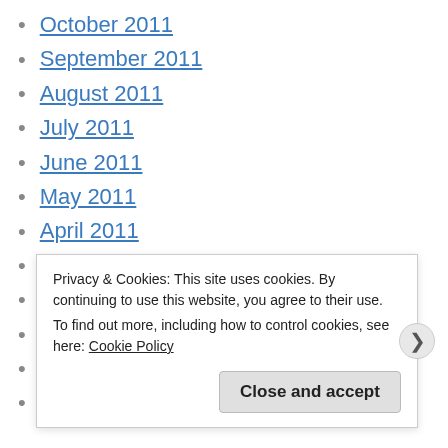October 2011
September 2011
August 2011
July 2011
June 2011
May 2011
April 2011
March 2011
February 2011
January 2011
December 2010
November 2010
Privacy & Cookies: This site uses cookies. By continuing to use this website, you agree to their use. To find out more, including how to control cookies, see here: Cookie Policy